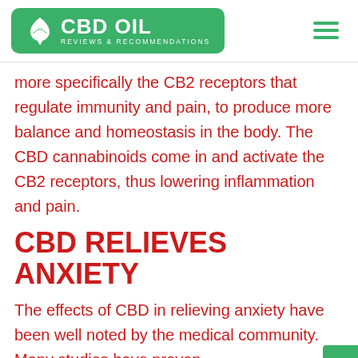CBD OIL REVIEWS & RECOMMENDATIONS
more specifically the CB2 receptors that regulate immunity and pain, to produce more balance and homeostasis in the body. The CBD cannabinoids come in and activate the CB2 receptors, thus lowering inflammation and pain.
CBD RELIEVES ANXIETY
The effects of CBD in relieving anxiety have been well noted by the medical community. Many studies have proven